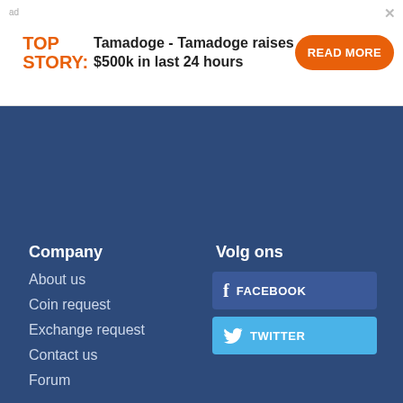[Figure (infographic): Ad banner: TOP STORY: Tamadoge - Tamadoge raises $500k in last 24 hours with READ MORE button]
Company
About us
Coin request
Exchange request
Contact us
Forum
Volg ons
[Figure (infographic): Facebook social button]
[Figure (infographic): Twitter social button]
© 2022 WorldCoinIndex   |   Disclaimer   |   Privacy policy   |   Terms of use
We use cookies for analytics, advertising and to improve our site. To find out more about our cookies, see our Privacy Policy. If you agree to our use of cookies, please continue to use our site or press the accept button. Learn more
Accept